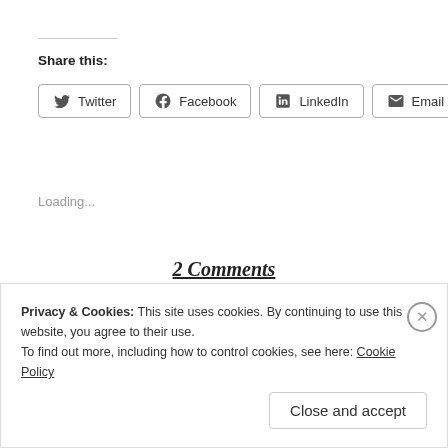Share this:
[Figure (other): Share buttons row: Twitter, Facebook, LinkedIn, Email, Print]
Loading...
2 Comments
Privacy & Cookies: This site uses cookies. By continuing to use this website, you agree to their use.
To find out more, including how to control cookies, see here: Cookie Policy
Close and accept